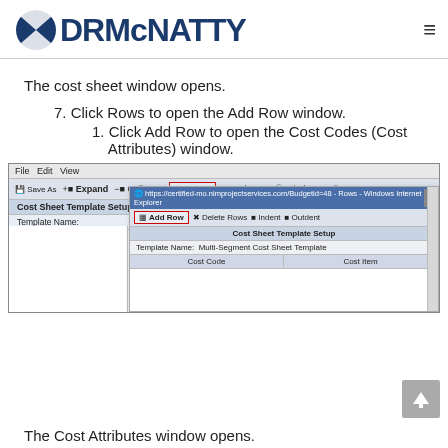DRMcNATTY
The cost sheet window opens.
7. Click Rows to open the Add Row window.
1. Click Add Row to open the Cost Codes (Cost Attributes) window.
[Figure (screenshot): Screenshot of Cost Sheet Template Setup window with Rows button highlighted in red border, and an Add Row dialog overlaid showing Cost Sheet Template Setup with Cost Code and Cost Item columns]
The Cost Attributes window opens.